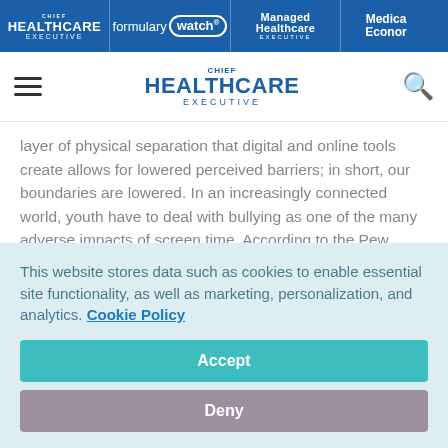Chief Healthcare Executive | Formulary Watch | Managed Healthcare Executive | Medical Economics
[Figure (logo): Chief Healthcare Executive site logo with hamburger menu and search icon]
layer of physical separation that digital and online tools create allows for lowered perceived barriers; in short, our boundaries are lowered. In an increasingly connected world, youth have to deal with bullying as one of the many adverse impacts of screen time. According to the Pew research, youth are using YouTube, Instagram and Snapchat, with 95% of teens reporting that they have access to a smartphone. Rates
This website stores data such as cookies to enable essential site functionality, as well as marketing, personalization, and analytics. Cookie Policy
Accept
Deny